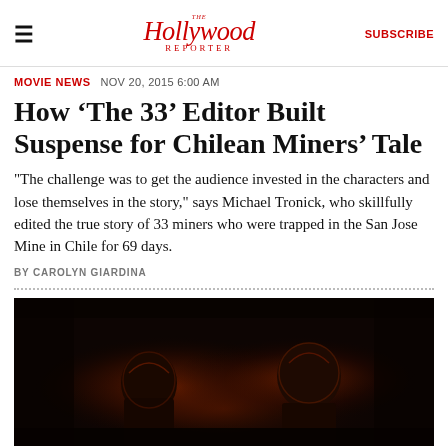The Hollywood Reporter | SUBSCRIBE
MOVIE NEWS  NOV 20, 2015 6:00 AM
How ‘The 33’ Editor Built Suspense for Chilean Miners’ Tale
"The challenge was to get the audience invested in the characters and lose themselves in the story," says Michael Tronick, who skillfully edited the true story of 33 miners who were trapped in the San Jose Mine in Chile for 69 days.
BY CAROLYN GIARDINA
[Figure (photo): Dark cinematic photo from the film 'The 33', showing miners in a dimly lit underground setting with reddish glow lighting]